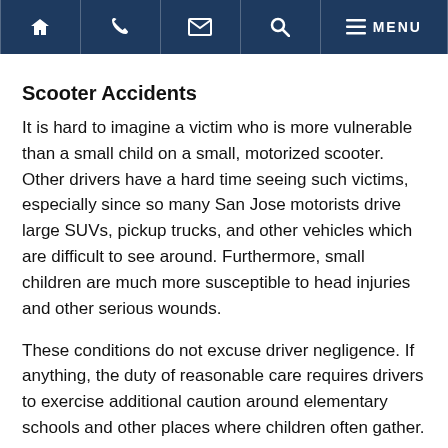Navigation bar with home, phone, email, search, and menu icons
Scooter Accidents
It is hard to imagine a victim who is more vulnerable than a small child on a small, motorized scooter. Other drivers have a hard time seeing such victims, especially since so many San Jose motorists drive large SUVs, pickup trucks, and other vehicles which are difficult to see around. Furthermore, small children are much more susceptible to head injuries and other serious wounds.
These conditions do not excuse driver negligence. If anything, the duty of reasonable care requires drivers to exercise additional caution around elementary schools and other places where children often gather.
Head injuries and other such wounds are almost always catastrophic or fatal. Even if the victim survives, which is